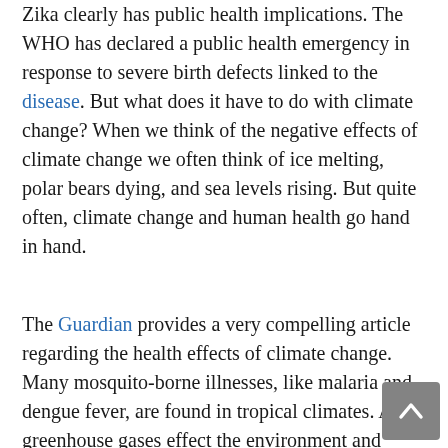Zika clearly has public health implications. The WHO has declared a public health emergency in response to severe birth defects linked to the disease. But what does it have to do with climate change? When we think of the negative effects of climate change we often think of ice melting, polar bears dying, and sea levels rising. But quite often, climate change and human health go hand in hand.
The Guardian provides a very compelling article regarding the health effects of climate change. Many mosquito-borne illnesses, like malaria and dengue fever, are found in tropical climates. As greenhouse gases effect the environment and increase global temperature, tropical climates can expand. Mosquitos are able to thrive in new locations. The citizens of these new mosquito hot-spots will not have the same resistance to